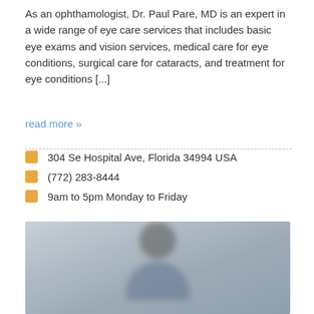As an ophthamologist, Dr. Paul Pare, MD is an expert in a wide range of eye care services that includes basic eye exams and vision services, medical care for eye conditions, surgical care for cataracts, and treatment for eye conditions [...]
read more »
304 Se Hospital Ave, Florida 34994 USA
(772) 283-8444
9am to 5pm Monday to Friday
[Figure (photo): Blurred photo of a man in a suit against a light gray background]